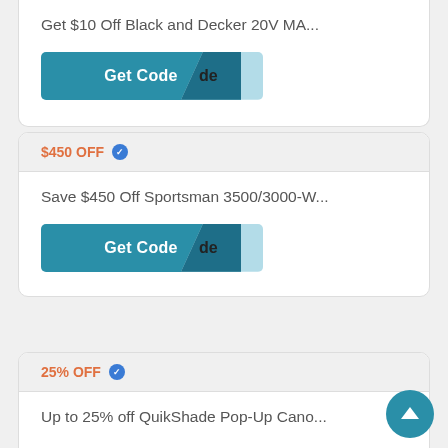Get $10 Off Black and Decker 20V MA...
[Figure (other): Get Code button with teal background and folded tab showing 'de']
$450 OFF (verified)
Save $450 Off Sportsman 3500/3000-W...
[Figure (other): Get Code button with teal background and folded tab showing 'de']
25% OFF (verified)
Up to 25% off QuikShade Pop-Up Cano...